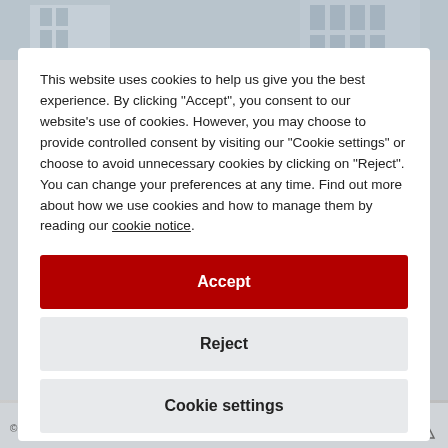[Figure (screenshot): Background image of a building interior/exterior, partially obscured by a white modal dialog. Grey background visible on sides and top.]
This website uses cookies to help us give you the best experience. By clicking "Accept", you consent to our website's use of cookies. However, you may choose to provide controlled consent by visiting our "Cookie settings" or choose to avoid unnecessary cookies by clicking on "Reject". You can change your preferences at any time. Find out more about how we use cookies and how to manage them by reading our cookie notice.
Accept
Reject
Cookie settings
© 2003-2022 FTSE/IQID Group